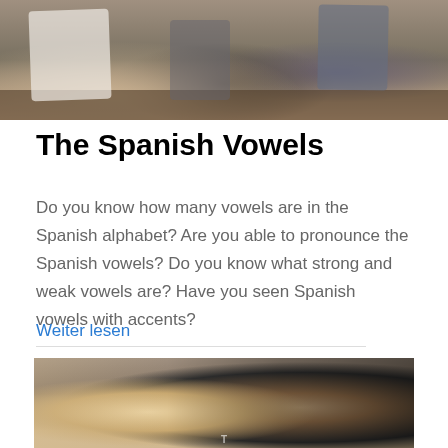[Figure (photo): Photo of a group of people sitting on a bench outdoors]
The Spanish Vowels
Do you know how many vowels are in the Spanish alphabet? Are you able to pronounce the Spanish vowels? Do you know what strong and weak vowels are? Have you seen Spanish vowels with accents?
Weiter lesen
[Figure (photo): Photo showing two women, one blonde and one dark-haired, looking to the side]